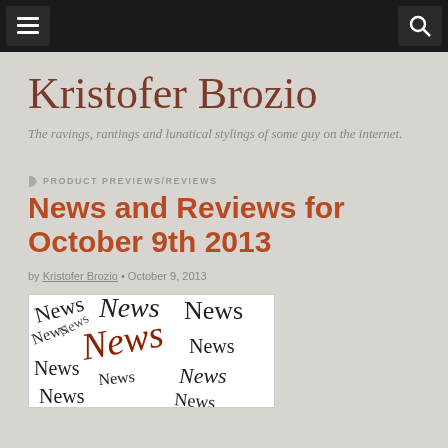Navigation bar with menu and search icons
Kristofer Brozio
The ravings, rantings and lunatical stylings of some guy on the internet.
PRODUCT PREVIEWS/REVIEWS
News and Reviews for October 9th 2013
by Kristofer Brozio • October 9, 2013
[Figure (illustration): A collage of the word 'News' written in various handwritten styles and sizes, some in black and some in dark red/brown, overlapping in a scattered pattern on a white background.]